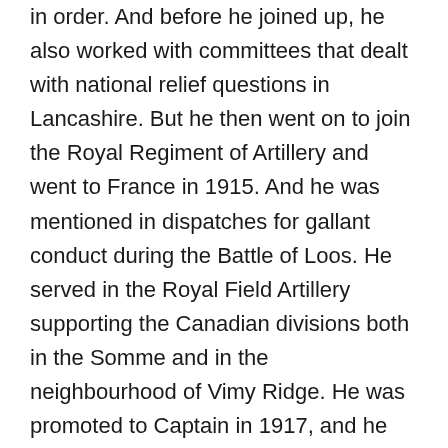in order. And before he joined up, he also worked with committees that dealt with national relief questions in Lancashire. But he then went on to join the Royal Regiment of Artillery and went to France in 1915. And he was mentioned in dispatches for gallant conduct during the Battle of Loos. He served in the Royal Field Artillery supporting the Canadian divisions both in the Somme and in the neighbourhood of Vimy Ridge. He was promoted to Captain in 1917, and he served continuously in Flanders and France until his death. Selina was also very busy on this side of the Channel. The British Red Cross still holds her VAD [Voluntary Aid Detachment] record. She also gave birth during this period. Their second child, Rosemary was born in September 1915. Her nickname was Rosebud. So chunk of the first portion of the War was spent presumably being pregnant. But then Selina, she became a nursing probationer and then